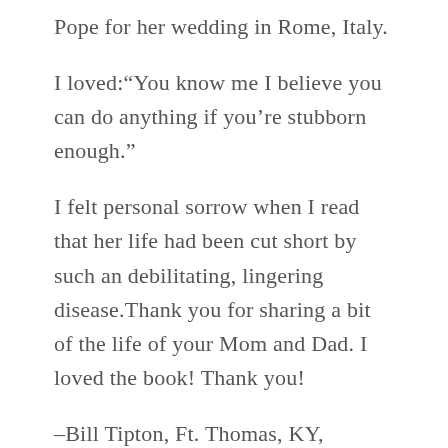Pope for her wedding in Rome, Italy.
I loved:“You know me I believe you can do anything if you’re stubborn enough.”
I felt personal sorrow when I read that her life had been cut short by such an debilitating, lingering disease.Thank you for sharing a bit of the life of your Mom and Dad. I loved the book! Thank you!
–Bill Tipton, Ft. Thomas, KY, USMC, VietNam